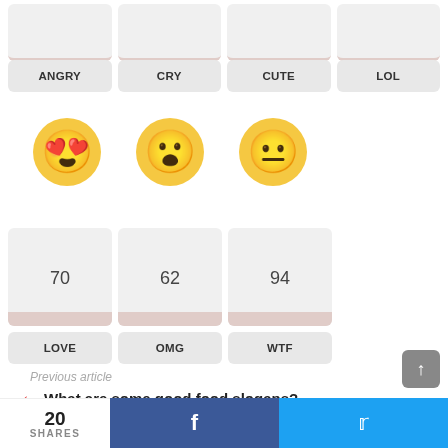[Figure (screenshot): Partial emoji reaction widget showing top row with ANGRY, CRY, CUTE, LOL labels and truncated cards]
[Figure (illustration): Three emoji faces: heart-eyes (LOVE), shocked/OMG face, and neutral/WTF face]
| 70 | 62 | 94 |
LOVE   OMG   WTF
Previous article
What are some good food slogans?
20 SHARES